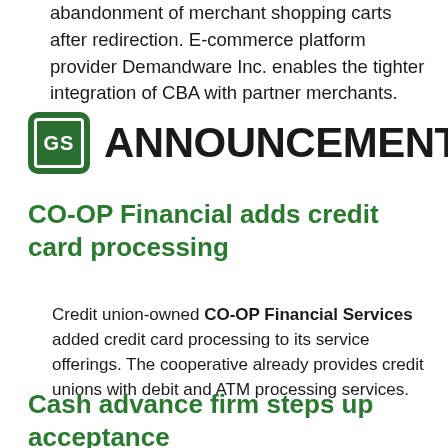abandonment of merchant shopping carts after redirection. E-commerce platform provider Demandware Inc. enables the tighter integration of CBA with partner merchants.
[Figure (logo): GS icon logo — green square with rounded corners containing a white bordered rectangle with 'GS' text inside, followed by bold black 'ANNOUNCEMENTS' text]
CO-OP Financial adds credit card processing
Credit union-owned CO-OP Financial Services added credit card processing to its service offerings. The cooperative already provides credit unions with debit and ATM processing services.
Cash advance firm steps up acceptance